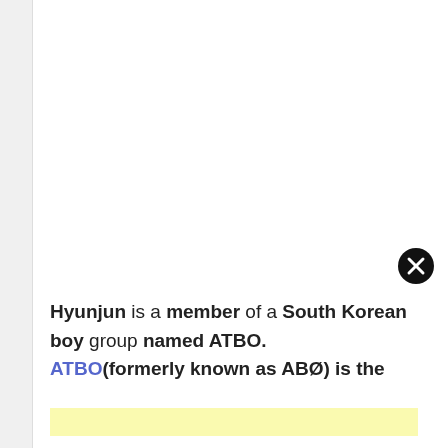Hyunjun is a member of a South Korean boy group named ATBO. ATBO(formerly known as ABØ) is the